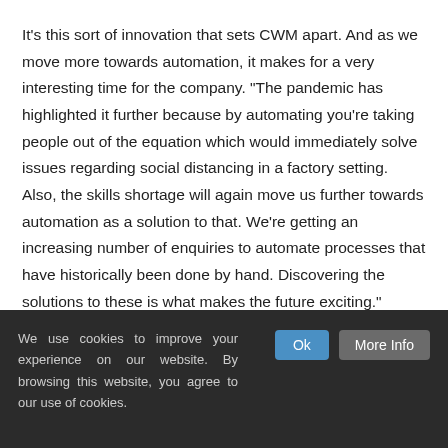It's this sort of innovation that sets CWM apart. And as we move more towards automation, it makes for a very interesting time for the company. "The pandemic has highlighted it further because by automating you're taking people out of the equation which would immediately solve issues regarding social distancing in a factory setting. Also, the skills shortage will again move us further towards automation as a solution to that. We're getting an increasing number of enquiries to automate processes that have historically been done by hand. Discovering the solutions to these is what makes the future exciting."
We use cookies to improve your experience on our website. By browsing this website, you agree to our use of cookies.